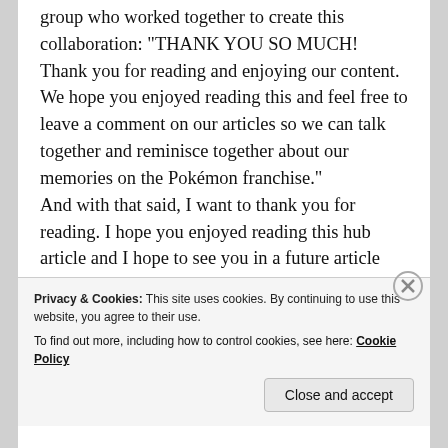group who worked together to create this collaboration: “THANK YOU SO MUCH! Thank you for reading and enjoying our content. We hope you enjoyed reading this and feel free to leave a comment on our articles so we can talk together and reminisce together about our memories on the Pokémon franchise.”
And with that said, I want to thank you for reading. I hope you enjoyed reading this hub article and I hope to see you in a future article but until then, have a great rest of your day and take care! And happy 25th birthday Pokémon! Thank you for all of the amazing memories and here are for all the memories to come!
Privacy & Cookies: This site uses cookies. By continuing to use this website, you agree to their use. To find out more, including how to control cookies, see here: Cookie Policy